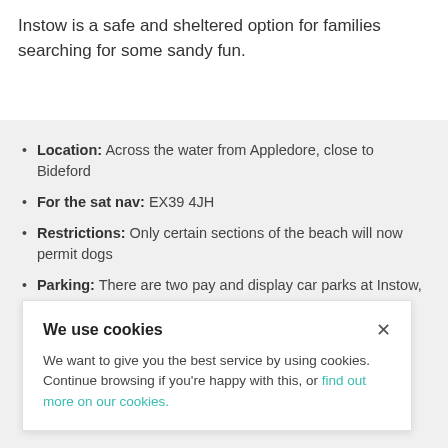Instow is a safe and sheltered option for families searching for some sandy fun.
Location: Across the water from Appledore, close to Bideford
For the sat nav: EX39 4JH
Restrictions: Only certain sections of the beach will now permit dogs
Parking: There are two pay and display car parks at Instow and there is also roadside ...
We use cookies
We want to give you the best service by using cookies. Continue browsing if you're happy with this, or find out more on our cookies.